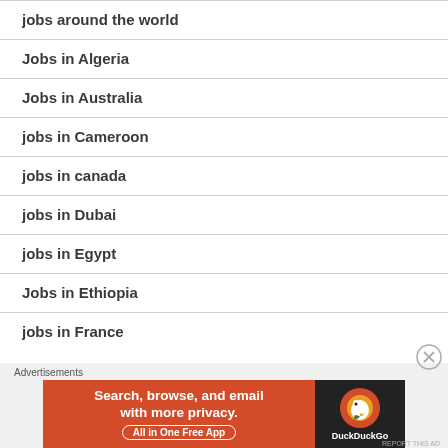jobs around the world
Jobs in Algeria
Jobs in Australia
jobs in Cameroon
jobs in canada
jobs in Dubai
jobs in Egypt
Jobs in Ethiopia
jobs in France
Advertisements
[Figure (screenshot): DuckDuckGo advertisement banner with text 'Search, browse, and email with more privacy. All in One Free App' on orange background with DuckDuckGo logo on dark right panel]